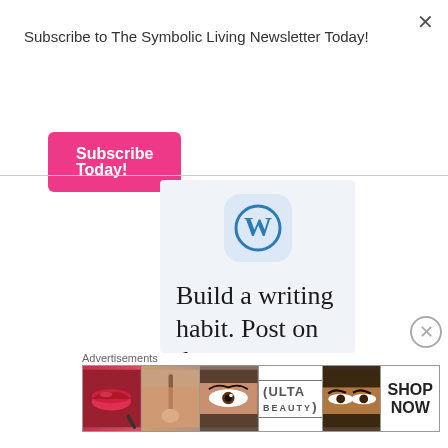Subscribe to The Symbolic Living Newsletter Today!
Subscribe Today!
[Figure (screenshot): WordPress advertisement showing WordPress logo icon and text 'Build a writing habit. Post on the go.']
Advertisements
[Figure (infographic): Advertisements banner showing cosmetics/beauty images including lips, brush, eye, Ulta Beauty logo, eyes with makeup, and 'SHOP NOW' text]